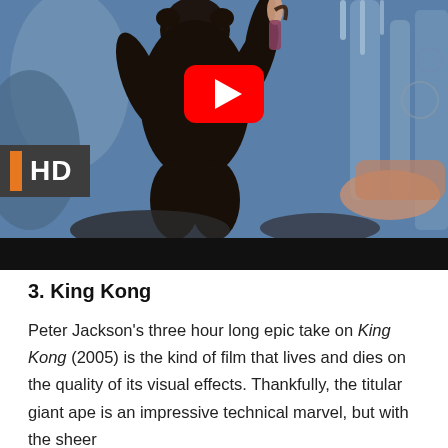[Figure (screenshot): YouTube video thumbnail showing King Kong (2005) movie scene — a large ape holding a woman in a fantasy/cave setting with icy blue tones. An HD badge appears in the lower left corner. A red YouTube play button is visible in the center.]
3. King Kong
Peter Jackson's three hour long epic take on King Kong (2005) is the kind of film that lives and dies on the quality of its visual effects. Thankfully, the titular giant ape is an impressive technical marvel, but with the sheer